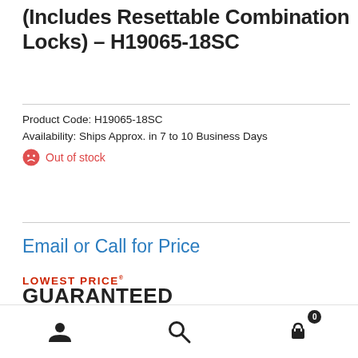(Includes Resettable Combination Locks) – H19065-18SC
Product Code: H19065-18SC
Availability: Ships Approx. in 7 to 10 Business Days
Out of stock
Email or Call for Price
[Figure (logo): LOWEST PRICE GUARANTEED badge/logo in red and black text]
Volume Discount Pricing:
User icon, Search icon, Cart icon with badge showing 0